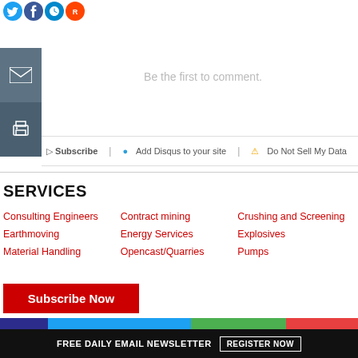[Figure (screenshot): Social media share icons (Twitter blue, Facebook blue, another blue, Reddit red) at top of page]
Be the first to comment.
Subscribe  D Add Disqus to your site  ⚠ Do Not Sell My Data
SERVICES
Consulting Engineers
Contract mining
Crushing and Screening
Earthmoving
Energy Services
Explosives
Material Handling
Opencast/Quarries
Pumps
Subscribe Now
FREE DAILY EMAIL NEWSLETTER  REGISTER NOW